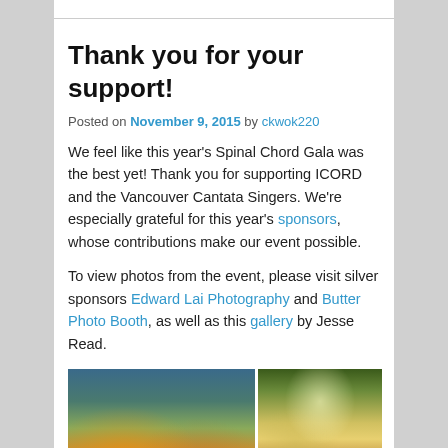Thank you for your support!
Posted on November 9, 2015 by ckwok220
We feel like this year's Spinal Chord Gala was the best yet! Thank you for supporting ICORD and the Vancouver Cantata Singers. We're especially grateful for this year's sponsors, whose contributions make our event possible.
To view photos from the event, please visit silver sponsors Edward Lai Photography and Butter Photo Booth, as well as this gallery by Jesse Read.
[Figure (photo): Two event photos side by side: left shows a modern building lobby/atrium with people, right shows a floral arrangement with colorful flowers against a dark background.]